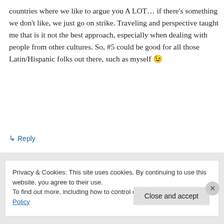countries where we like to argue you A LOT… if there's something we don't like, we just go on strike. Traveling and perspective taught me that is it not the best approach, especially when dealing with people from other cultures. So, #5 could be good for all those Latin/Hispanic folks out there, such as myself 😉
↳ Reply
Privacy & Cookies: This site uses cookies. By continuing to use this website, you agree to their use.
To find out more, including how to control cookies, see here: Cookie Policy
Close and accept